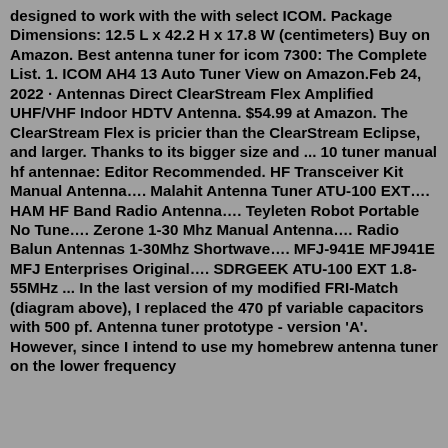designed to work with the with select ICOM. Package Dimensions: 12.5 L x 42.2 H x 17.8 W (centimeters) Buy on Amazon. Best antenna tuner for icom 7300: The Complete List. 1. ICOM AH4 13 Auto Tuner View on Amazon.Feb 24, 2022 · Antennas Direct ClearStream Flex Amplified UHF/VHF Indoor HDTV Antenna. $54.99 at Amazon. The ClearStream Flex is pricier than the ClearStream Eclipse, and larger. Thanks to its bigger size and ... 10 tuner manual hf antennae: Editor Recommended. HF Transceiver Kit Manual Antenna…. Malahit Antenna Tuner ATU-100 EXT…. HAM HF Band Radio Antenna…. Teyleten Robot Portable No Tune…. Zerone 1-30 Mhz Manual Antenna…. Radio Balun Antennas 1-30Mhz Shortwave…. MFJ-941E MFJ941E MFJ Enterprises Original…. SDRGEEK ATU-100 EXT 1.8-55MHz ... In the last version of my modified FRI-Match (diagram above), I replaced the 470 pf variable capacitors with 500 pf. Antenna tuner prototype - version 'A'. However, since I intend to use my homebrew antenna tuner on the lower frequency